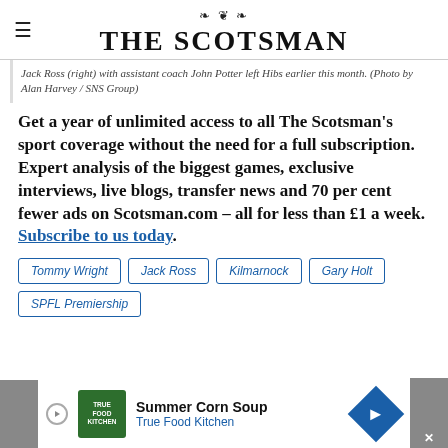THE SCOTSMAN
Jack Ross (right) with assistant coach John Potter left Hibs earlier this month. (Photo by Alan Harvey / SNS Group)
Get a year of unlimited access to all The Scotsman's sport coverage without the need for a full subscription. Expert analysis of the biggest games, exclusive interviews, live blogs, transfer news and 70 per cent fewer ads on Scotsman.com – all for less than £1 a week. Subscribe to us today.
Tommy Wright
Jack Ross
Kilmarnock
Gary Holt
SPFL Premiership
[Figure (other): Advertisement banner for True Food Kitchen featuring Summer Corn Soup with logo and navigation arrow]